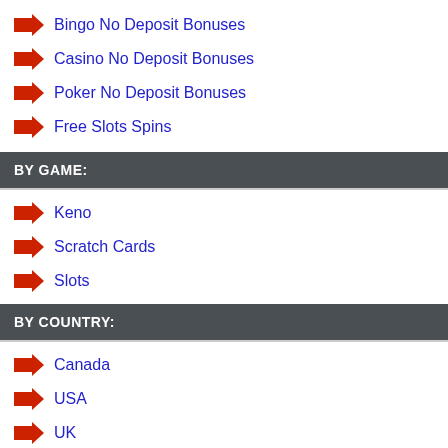Bingo No Deposit Bonuses
Casino No Deposit Bonuses
Poker No Deposit Bonuses
Free Slots Spins
BY GAME:
Keno
Scratch Cards
Slots
BY COUNTRY:
Canada
USA
UK